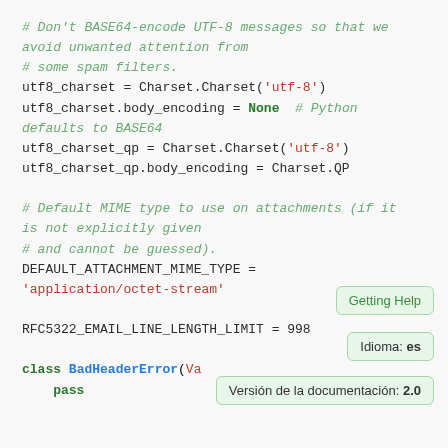# Don't BASE64-encode UTF-8 messages so that we avoid unwanted attention from
# some spam filters.
utf8_charset = Charset.Charset('utf-8')
utf8_charset.body_encoding = None  # Python defaults to BASE64
utf8_charset_qp = Charset.Charset('utf-8')
utf8_charset_qp.body_encoding = Charset.QP

# Default MIME type to use on attachments (if it is not explicitly given
# and cannot be guessed).
DEFAULT_ATTACHMENT_MIME_TYPE =
'application/octet-stream'

RFC5322_EMAIL_LINE_LENGTH_LIMIT = 998

class BadHeaderError(Va...
    pass
Getting Help
Idioma: es
Versión de la documentación: 2.0